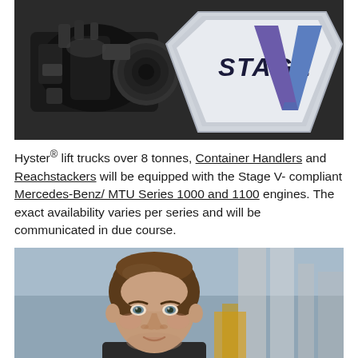[Figure (photo): Photo of an industrial engine (dark, mechanical) on the left side, and a Stage V logo badge (silver/blue shield shape with 'STAGE V' text and a large blue/purple V mark) on the right side against a dark background.]
Hyster® lift trucks over 8 tonnes, Container Handlers and Reachstackers will be equipped with the Stage V-compliant Mercedes-Benz/ MTU Series 1000 and 1100 engines. The exact availability varies per series and will be communicated in due course.
[Figure (photo): Portrait photo of a middle-aged man with brown hair, smiling slightly, wearing a dark shirt, with an industrial/warehouse background visible behind him.]